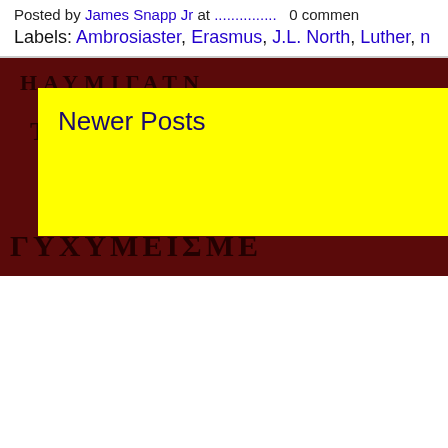Posted by James Snapp Jr at ............... 0 comments
Labels: Ambrosiaster, Erasmus, J.L. North, Luther, ...
[Figure (photo): Ancient manuscript page with dark red/brown background and faded Greek or Latin text in black letters across multiple lines]
Newer Posts